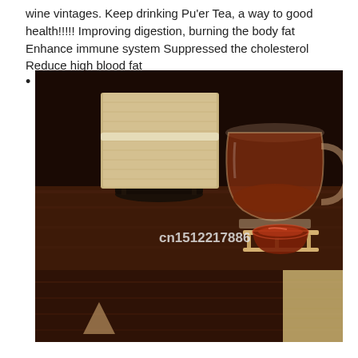wine vintages. Keep drinking Pu'er Tea, a way to good health!!!!! Improving digestion, burning the body fat Enhance immune system Suppressed the cholesterol Reduce high blood fat
•
[Figure (photo): Photo of Pu'er tea brick in cloth wrapping on a stand, next to a glass pitcher of dark red brewed tea and a small red teacup on a wooden stand, on a dark wooden table. Watermark text: cn1512217886]
[Figure (photo): Partial bottom photo showing a dark wooden table surface with part of a cloth-wrapped tea brick visible at the right edge.]